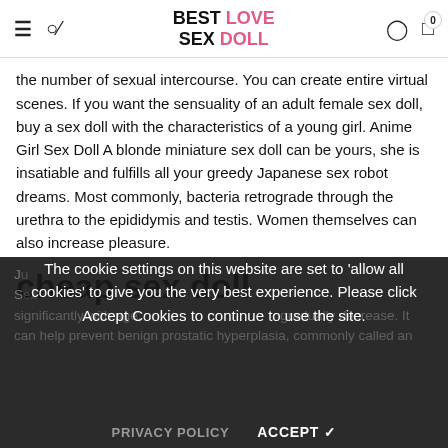BEST LOVE SEX DOLL
the number of sexual intercourse. You can create entire virtual scenes. If you want the sensuality of an adult female sex doll, buy a sex doll with the characteristics of a young girl. Anime Girl Sex Doll A blonde miniature sex doll can be yours, she is insatiable and fulfills all your greedy Japanese sex robot dreams. Most commonly, bacteria retrograde through the urethra to the epididymis and testis. Women themselves can also increase pleasure.
cheap sex doll
The cookie settings on this website are set to 'allow all cookies' to give you the very best experience. Please click Accept Cookies to continue to use the site.
PRIVACY POLICY   ACCEPT ✓